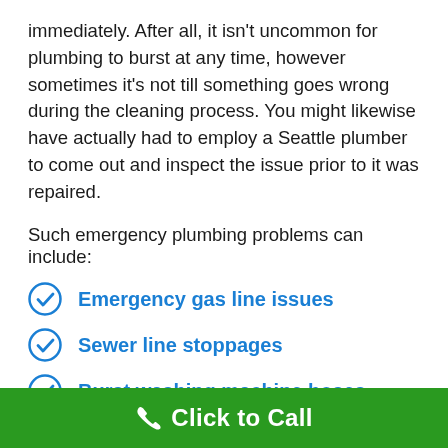immediately. After all, it isn't uncommon for plumbing to burst at any time, however sometimes it's not till something goes wrong during the cleaning process. You might likewise have actually had to employ a Seattle plumber to come out and inspect the issue prior to it was repaired.
Such emergency plumbing problems can include:
Emergency gas line issues
Sewer line stoppages
Burst washing machine hoses
Kitchen and bathroom drain clogs
Broken hot water heaters
Click to Call